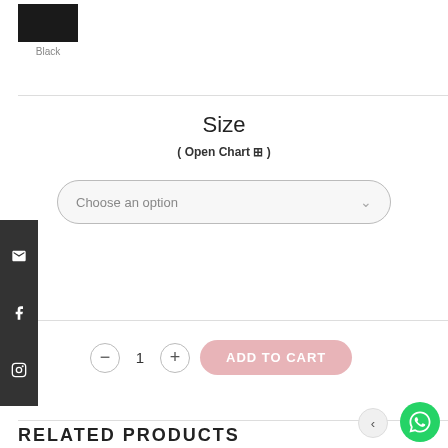[Figure (screenshot): Black color swatch square]
Black
Size
( Open Chart ⊞ )
Choose an option
1
ADD TO CART
RELATED PRODUCTS